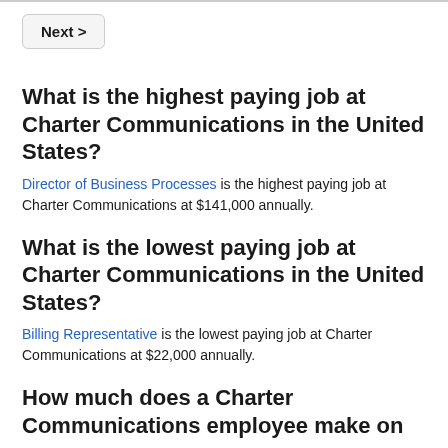[Figure (other): Next > navigation button]
What is the highest paying job at Charter Communications in the United States?
Director of Business Processes is the highest paying job at Charter Communications at $141,000 annually.
What is the lowest paying job at Charter Communications in the United States?
Billing Representative is the lowest paying job at Charter Communications at $22,000 annually.
How much does a Charter Communications employee make on an